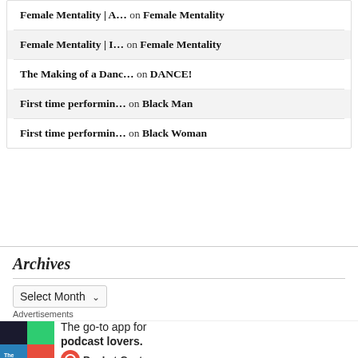Female Mentality | A… on Female Mentality
Female Mentality | I… on Female Mentality
The Making of a Danc… on DANCE!
First time performin… on Black Man
First time performin… on Black Woman
Archives
Select Month
Advertisements
[Figure (screenshot): Pocket Casts advertisement banner: 'The go-to app for podcast lovers.' with Pocket Casts logo]